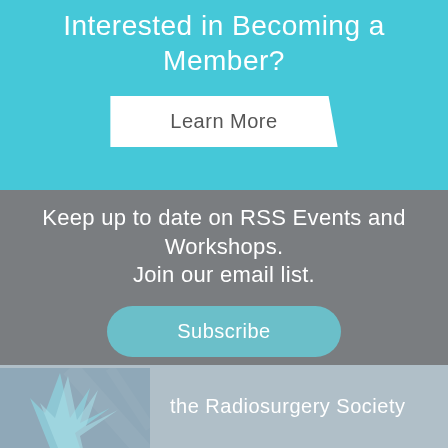Interested in Becoming a Member?
Learn More
Keep up to date on RSS Events and Workshops.
Join our email list.
Subscribe
the Radiosurgery Society